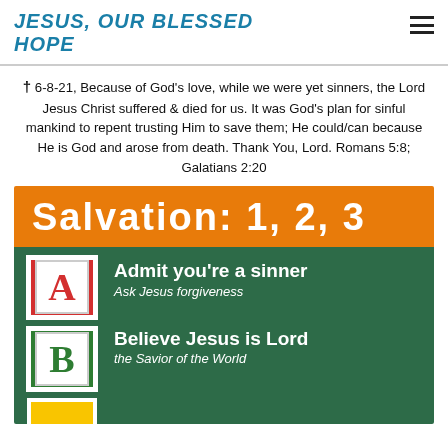JESUS, OUR BLESSED HOPE
✝ 6-8-21, Because of God's love, while we were yet sinners, the Lord Jesus Christ suffered & died for us. It was God's plan for sinful mankind to repent trusting Him to save them; He could/can because He is God and arose from death. Thank You, Lord. Romans 5:8; Galatians 2:20
[Figure (infographic): Colorful infographic titled 'Salvation: 1, 2, 3' on orange banner. Green background with alphabet blocks A and B. Text reads: A - Admit you're a sinner / Ask Jesus forgiveness; B - Believe Jesus is Lord / the Savior of the World]